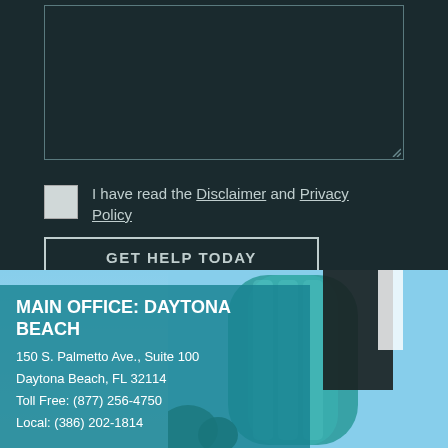[Figure (screenshot): Dark teal form section with a text area input box (empty), a checkbox with label 'I have read the Disclaimer and Privacy Policy', and a 'GET HELP TODAY' button]
I have read the Disclaimer and Privacy Policy
GET HELP TODAY
[Figure (photo): Photo of a modern curved glass office building in Daytona Beach with blue sky background, overlaid with a teal semi-transparent panel showing office contact information]
MAIN OFFICE: DAYTONA BEACH
150 S. Palmetto Ave., Suite 100
Daytona Beach, FL 32114
Toll Free: (877) 256-4750
Local: (386) 202-1814